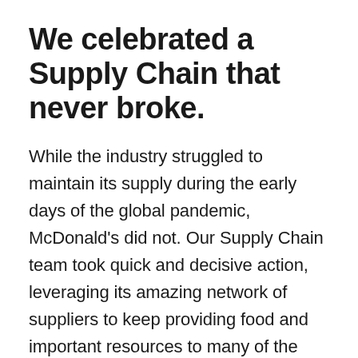We celebrated a Supply Chain that never broke.
While the industry struggled to maintain its supply during the early days of the global pandemic, McDonald's did not. Our Supply Chain team took quick and decisive action, leveraging its amazing network of suppliers to keep providing food and important resources to many of the 38,000+ restaurants in 100+ markets...